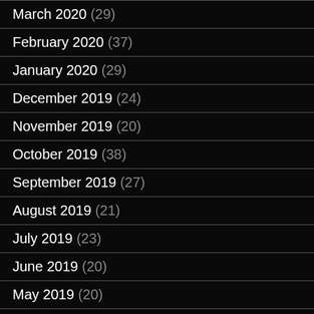March 2020 (29)
February 2020 (37)
January 2020 (29)
December 2019 (24)
November 2019 (20)
October 2019 (38)
September 2019 (27)
August 2019 (21)
July 2019 (23)
June 2019 (20)
May 2019 (20)
April 2019 (16)